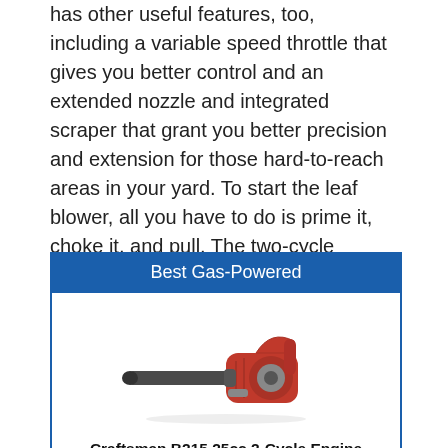has other useful features, too, including a variable speed throttle that gives you better control and an extended nozzle and integrated scraper that grant you better precision and extension for those hard-to-reach areas in your yard. To start the leaf blower, all you have to do is prime it, choke it, and pull. The two-cycle engine is capable of 430 CFM and 200 MPH. As a bonus, some complimentary oil comes included with your purchase.
[Figure (other): Product card with blue header labeled 'Best Gas-Powered', containing a photo of a red and grey handheld leaf blower (Craftsman B215 25cc 2-Cycle Engine Handheld Gas-Powered) and the product title below.]